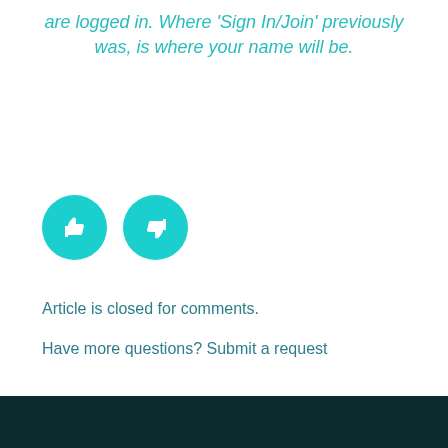are logged in. Where 'Sign In/Join' previously was, is where your name will be.
[Figure (illustration): Two circular teal buttons: a thumbs-up icon on the left and a thumbs-down icon on the right]
Article is closed for comments.
Have more questions? Submit a request